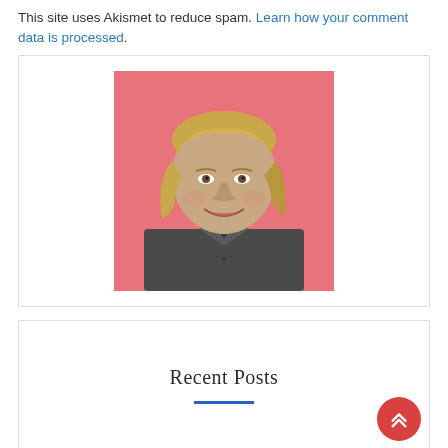This site uses Akismet to reduce spam. Learn how your comment data is processed.
[Figure (photo): Headshot of a man with medium-length blonde hair, smiling, wearing a dark grey shirt, against a pink/coral background]
Recent Posts